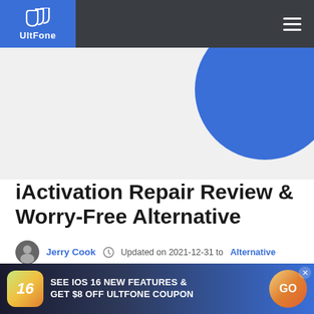UltFone
[Figure (illustration): Light gray hero banner with a large blue circle in the upper right corner]
iActivation Repair Review & Worry-Free Alternative
Jerry Cook  Updated on 2021-12-31 to Alternative
After seeing a few tutorials, you may have spent a lot
[Figure (infographic): Bottom promotional banner: iOS 16 icon, text 'SEE IOS 16 NEW FEATURES & GET $8 OFF ULTFONE COUPON', and a GO button]